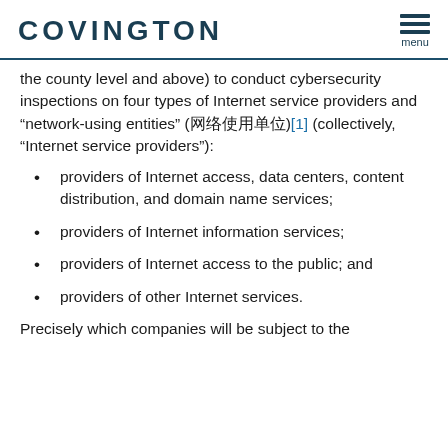COVINGTON  menu
the county level and above) to conduct cybersecurity inspections on four types of Internet service providers and "network-using entities" (网络使用单位)[1] (collectively, "Internet service providers"):
providers of Internet access, data centers, content distribution, and domain name services;
providers of Internet information services;
providers of Internet access to the public; and
providers of other Internet services.
Precisely which companies will be subject to the